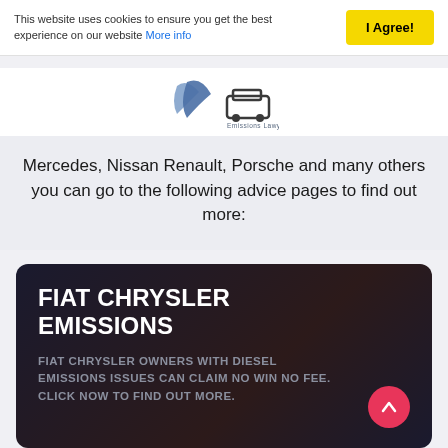This website uses cookies to ensure you get the best experience on our website More info
[Figure (logo): Emissions Lawyers logo with blue swoosh and car icon]
Mercedes, Nissan Renault, Porsche and many others you can go to the following advice pages to find out more:
FIAT CHRYSLER EMISSIONS
FIAT CHRYSLER OWNERS WITH DIESEL EMISSIONS ISSUES CAN CLAIM NO WIN NO FEE. CLICK NOW TO FIND OUT MORE.